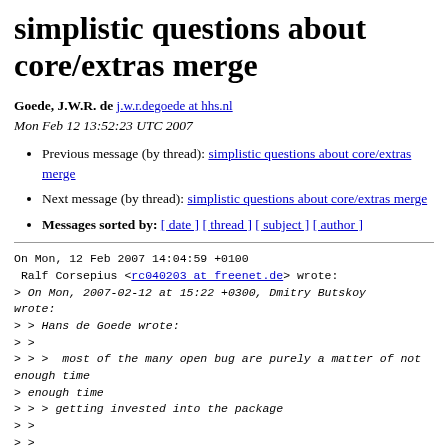simplistic questions about core/extras merge
Goede, J.W.R. de j.w.r.degoede at hhs.nl
Mon Feb 12 13:52:23 UTC 2007
Previous message (by thread): simplistic questions about core/extras merge
Next message (by thread): simplistic questions about core/extras merge
Messages sorted by: [ date ] [ thread ] [ subject ] [ author ]
On Mon, 12 Feb 2007 14:04:59 +0100
 Ralf Corsepius <rc040203 at freenet.de> wrote:
> On Mon, 2007-02-12 at 15:22 +0300, Dmitry Butskoy wrote:
> > Hans de Goede wrote:
> >
> > >  most of the many open bug are purely a matter of not
enough time
> enough time
> > > getting invested into the package
> >
> >